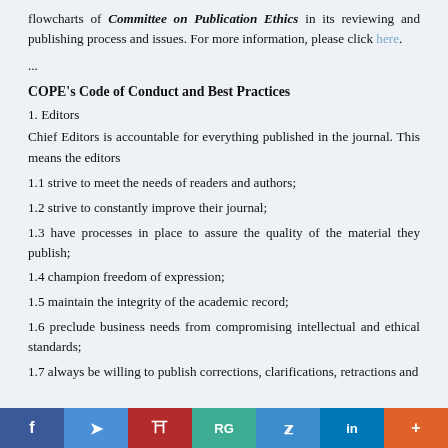flowcharts of Committee on Publication Ethics in its reviewing and publishing process and issues. For more information, please click here.
...
COPE's Code of Conduct and Best Practices
1. Editors
Chief Editors is accountable for everything published in the journal. This means the editors
1.1 strive to meet the needs of readers and authors;
1.2 strive to constantly improve their journal;
1.3 have processes in place to assure the quality of the material they publish;
1.4 champion freedom of expression;
1.5 maintain the integrity of the academic record;
1.6 preclude business needs from compromising intellectual and ethical standards;
1.7 always be willing to publish corrections, clarifications, retractions and